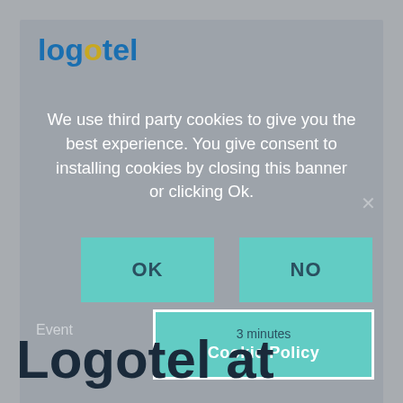[Figure (screenshot): Logotel website screenshot showing a cookie consent modal overlay with OK and NO buttons, Cookie Policy link, and 'Logotel at' heading visible at the bottom]
logotel
We use third party cookies to give you the best experience. You give consent to installing cookies by closing this banner or clicking Ok.
OK
NO
Event
3 minutes
Cookie Policy
March 2021
Logotel at